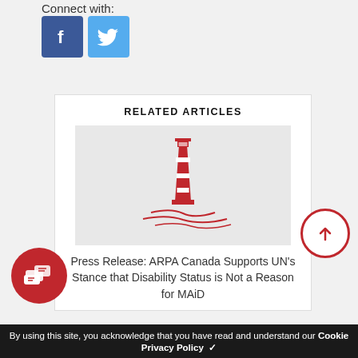Connect with:
[Figure (other): Facebook and Twitter social media icon buttons]
RELATED ARTICLES
[Figure (logo): Red lighthouse logo illustration for ARPA Canada]
Press Release: ARPA Canada Supports UN's Stance that Disability Status is Not a Reason for MAiD
By using this site, you acknowledge that you have read and understand our Cookie
Privacy Policy ✓